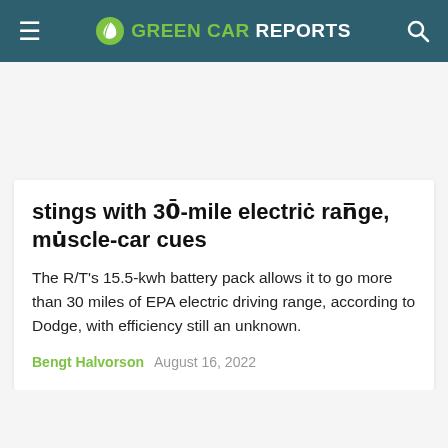GREEN CAR REPORTS
stings with 30-mile electric range, muscle-car cues
The R/T's 15.5-kwh battery pack allows it to go more than 30 miles of EPA electric driving range, according to Dodge, with efficiency still an unknown.
Bengt Halvorson   August 16, 2022